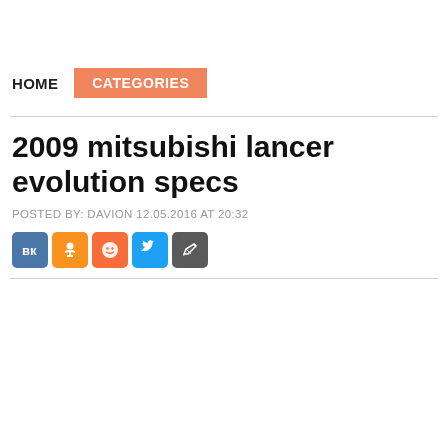HOME   CATEGORIES
2009 mitsubishi lancer evolution specs
POSTED BY: DAVION 12.05.2016 AT 20:32
[Figure (other): Row of five social sharing icon buttons: VK (blue), OK (orange), Smile/emoji (orange-red), Twitter (light blue), Edit/pencil (dark gray)]